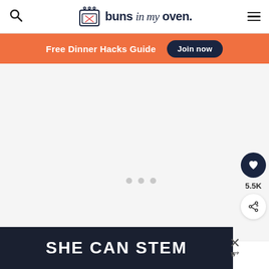buns in my oven.
Free Dinner Hacks Guide  Join now
[Figure (screenshot): Main content area with loading dots on light gray background]
5.5K
WHAT'S NEXT → Oven Roasted Potatoes wit...
[Figure (photo): Ad banner with text SHE CAN STEM on dark background]